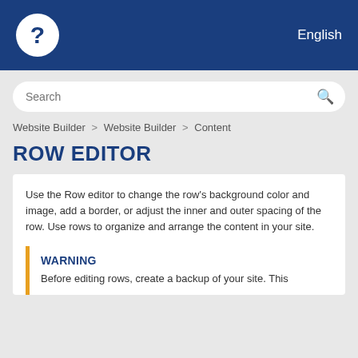? English
Search
Website Builder > Website Builder > Content
ROW EDITOR
Use the Row editor to change the row's background color and image, add a border, or adjust the inner and outer spacing of the row. Use rows to organize and arrange the content in your site.
WARNING
Before editing rows, create a backup of your site. This